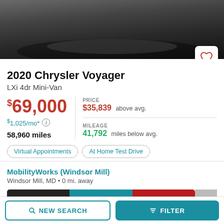[Figure (photo): Top portion of a car listing photo showing a dark vehicle on a reflective surface, partially cropped.]
2020 Chrysler Voyager
LXi 4dr Mini-Van
$69,000
$1,025/mo*
58,960 miles
PRICE $35,839 above avg.
MILEAGE 41,792 miles below avg.
Virtual Appointments
At Home Test Drive
MobilityWorks (Windsor Mill)
Windsor Mill, MD • 0 mi. away
CALL
TEXT
EMAIL
NEW SEARCH
FILTER